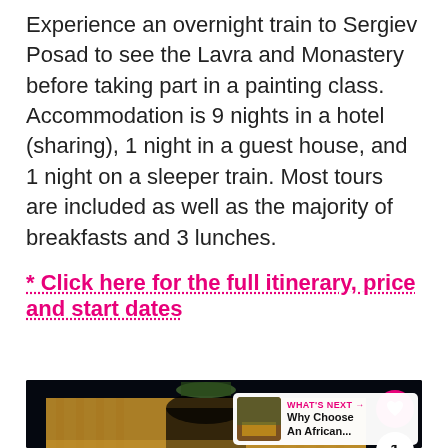Experience an overnight train to Sergiev Posad to see the Lavra and Monastery before taking part in a painting class. Accommodation is 9 nights in a hotel (sharing), 1 night in a guest house, and 1 night on a sleeper train. Most tours are included as well as the majority of breakfasts and 3 lunches.
* Click here for the full itinerary, price and start dates
[Figure (photo): Night-time photo of an ornate classical building with illuminated white facade and arched entrance, topped with a sculptural group of horses and figures. UI overlay shows heart button, share count of 1, and share button. A 'What's Next' panel shows a thumbnail and text 'Why Choose An African...']